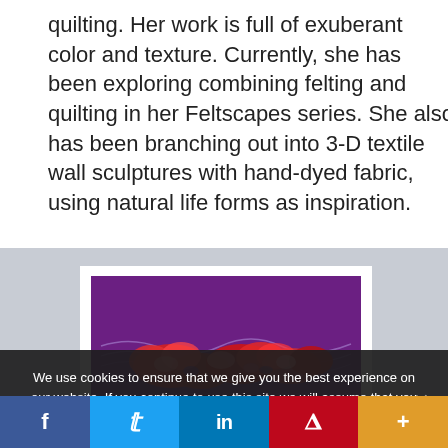quilting. Her work is full of exuberant color and texture. Currently, she has been exploring combining felting and quilting in her Feltscapes series. She also has been branching out into 3-D textile wall sculptures with hand-dyed fabric, using natural life forms as inspiration.
[Figure (photo): Textile artwork on purple fabric background with vibrant red and pink felted/quilted organic forms resembling natural life forms, displayed on a white mat with gray background]
We use cookies to ensure that we give you the best experience on our website. If you continue to use this site we will assume that you are happy with it.